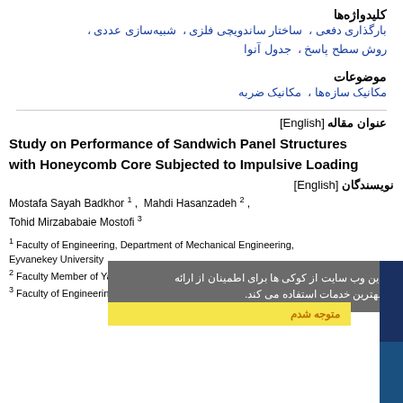کلیدواژه‌ها
بارگذاری دفعی ،  ساختار ساندویچی فلزی ،  شبیه‌سازی عددی ، روش سطح پاسخ ،  جدول آنوا
موضوعات
مکانیک سازه‌ها ،  مکانیک ضربه
عنوان مقاله [English]
Study on Performance of Sandwich Panel Structures with Honeycomb Core Subjected to Impulsive Loading
نویسندگان [English]
Mostafa Sayah Badkhor 1 ,  Mahdi Hasanzadeh 2 , Tohid Mirzababaie Mostofi 3
1 Faculty of Engineering, Department of Mechanical Engineering, Eyvanekey University
2 Faculty Member of Yazd University
3 Faculty of Engineering, Mechanical Engineering Department